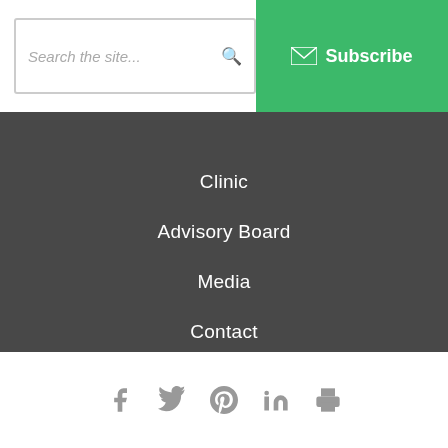Search the site... Subscribe
Clinic
Advisory Board
Media
Contact
CHRONIC ILLNESS
Social share icons: Facebook, Twitter, Pinterest, LinkedIn, Print